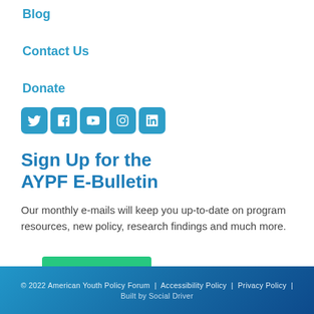Blog
Contact Us
Donate
[Figure (infographic): Social media icons: Twitter, Facebook, YouTube, Instagram, LinkedIn — each in a rounded blue square]
Sign Up for the AYPF E-Bulletin
Our monthly e-mails will keep you up-to-date on program resources, new policy, research findings and much more.
SIGN UP
© 2022 American Youth Policy Forum | Accessibility Policy | Privacy Policy | Built by Social Driver